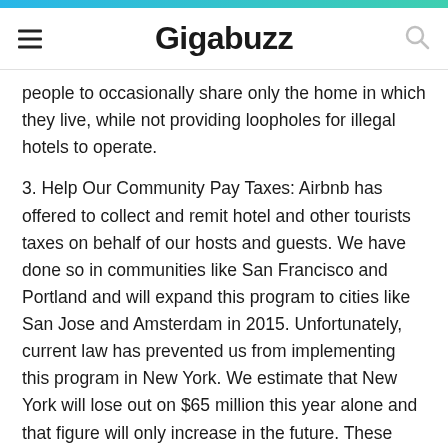Gigabuzz
people to occasionally share only the home in which they live, while not providing loopholes for illegal hotels to operate.
3. Help Our Community Pay Taxes: Airbnb has offered to collect and remit hotel and other tourists taxes on behalf of our hosts and guests. We have done so in communities like San Francisco and Portland and will expand this program to cities like San Jose and Amsterdam in 2015. Unfortunately, current law has prevented us from implementing this program in New York. We estimate that New York will lose out on $65 million this year alone and that figure will only increase in the future. These resources could fund valuable public services and should not go uncollected. We should amend the law to help ensure our community can contribute even more to the City and State. 4. More Resources to Fight True Illegal Hotels: The City and State should allocate some portion of the $65 million to increase enforcement against true, large scale illegal hotels. 5